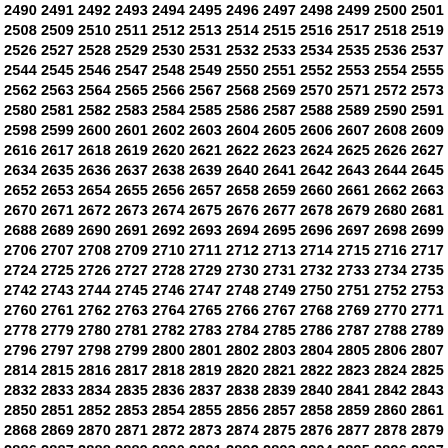2490 2491 2492 2493 2494 2495 2496 2497 2498 2499 2500 2501 2502 2503 2508 2509 2510 2511 2512 2513 2514 2515 2516 2517 2518 2519 2520 2521 2526 2527 2528 2529 2530 2531 2532 2533 2534 2535 2536 2537 2538 2539 2544 2545 2546 2547 2548 2549 2550 2551 2552 2553 2554 2555 2556 2557 2562 2563 2564 2565 2566 2567 2568 2569 2570 2571 2572 2573 2574 2575 2580 2581 2582 2583 2584 2585 2586 2587 2588 2589 2590 2591 2592 2593 2598 2599 2600 2601 2602 2603 2604 2605 2606 2607 2608 2609 2610 2611 2616 2617 2618 2619 2620 2621 2622 2623 2624 2625 2626 2627 2628 2629 2634 2635 2636 2637 2638 2639 2640 2641 2642 2643 2644 2645 2646 2647 2652 2653 2654 2655 2656 2657 2658 2659 2660 2661 2662 2663 2664 2665 2670 2671 2672 2673 2674 2675 2676 2677 2678 2679 2680 2681 2682 2683 2688 2689 2690 2691 2692 2693 2694 2695 2696 2697 2698 2699 2700 2701 2706 2707 2708 2709 2710 2711 2712 2713 2714 2715 2716 2717 2718 2719 2724 2725 2726 2727 2728 2729 2730 2731 2732 2733 2734 2735 2736 2737 2742 2743 2744 2745 2746 2747 2748 2749 2750 2751 2752 2753 2754 2755 2760 2761 2762 2763 2764 2765 2766 2767 2768 2769 2770 2771 2772 2773 2778 2779 2780 2781 2782 2783 2784 2785 2786 2787 2788 2789 2790 2791 2796 2797 2798 2799 2800 2801 2802 2803 2804 2805 2806 2807 2808 2809 2814 2815 2816 2817 2818 2819 2820 2821 2822 2823 2824 2825 2826 2827 2832 2833 2834 2835 2836 2837 2838 2839 2840 2841 2842 2843 2844 2845 2850 2851 2852 2853 2854 2855 2856 2857 2858 2859 2860 2861 2862 2863 2868 2869 2870 2871 2872 2873 2874 2875 2876 2877 2878 2879 2880 2881 2886 2887 2888 2889 2890 2891 2892 2893 2894 2895 2896 2897 2898 2899 2904 2905 2906 2907 2908 2909 2910 2911 2912 2913 2914 2915 2916 2917